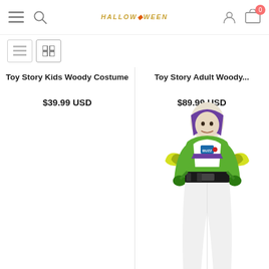HALLOWEEN - Navigation bar with hamburger menu, search, brand logo, user account, and cart (0 items)
[Figure (screenshot): View toggle buttons: list view and grid view icons]
Toy Story Kids Woody Costume
$39.99 USD
Toy Story Adult Woody...
$89.99 USD
[Figure (photo): Adult man wearing Buzz Lightyear costume from Toy Story - white and green spacesuit with purple hood, yellow wings, and black belt]